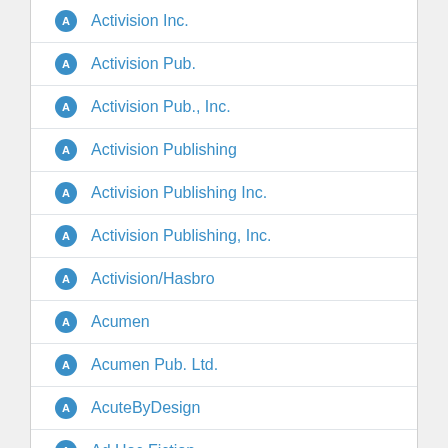Activision Inc.
Activision Pub.
Activision Pub., Inc.
Activision Publishing
Activision Publishing Inc.
Activision Publishing, Inc.
Activision/Hasbro
Acumen
Acumen Pub. Ltd.
AcuteByDesign
Ad Hoc Fiction